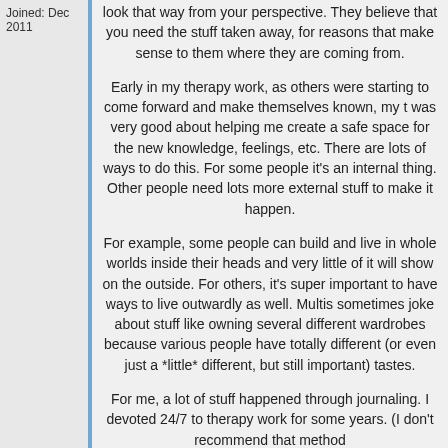Joined: Dec 2011
look that way from your perspective. They believe that you need the stuff taken away, for reasons that make sense to them where they are coming from.

Early in my therapy work, as others were starting to come forward and make themselves known, my t was very good about helping me create a safe space for the new knowledge, feelings, etc. There are lots of ways to do this. For some people it's an internal thing. Other people need lots more external stuff to make it happen.

For example, some people can build and live in whole worlds inside their heads and very little of it will show on the outside. For others, it's super important to have ways to live outwardly as well. Multis sometimes joke about stuff like owning several different wardrobes because various people have totally different (or even just a *little* different, but still important) tastes.

For me, a lot of stuff happened through journaling. I devoted 24/7 to therapy work for some years. (I don't recommend that method